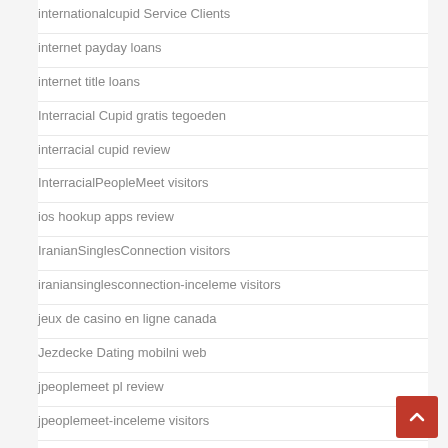internationalcupid Service Clients
internet payday loans
internet title loans
Interracial Cupid gratis tegoeden
interracial cupid review
InterracialPeopleMeet visitors
ios hookup apps review
IranianSinglesConnection visitors
iraniansinglesconnection-inceleme visitors
jeux de casino en ligne canada
Jezdecke Dating mobilni web
jpeoplemeet pl review
jpeoplemeet-inceleme visitors